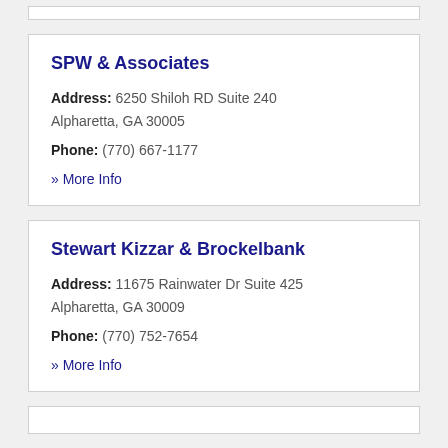SPW & Associates
Address: 6250 Shiloh RD Suite 240 Alpharetta, GA 30005
Phone: (770) 667-1177
» More Info
Stewart Kizzar & Brockelbank
Address: 11675 Rainwater Dr Suite 425 Alpharetta, GA 30009
Phone: (770) 752-7654
» More Info